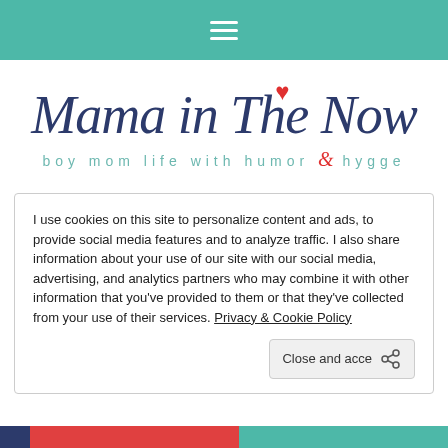≡ (navigation hamburger menu)
Mama in The Now
boy mom life with humor & hygge
I use cookies on this site to personalize content and ads, to provide social media features and to analyze traffic. I also share information about your use of our site with our social media, advertising, and analytics partners who may combine it with other information that you've provided to them or that they've collected from your use of their services. Privacy & Cookie Policy
Close and accept